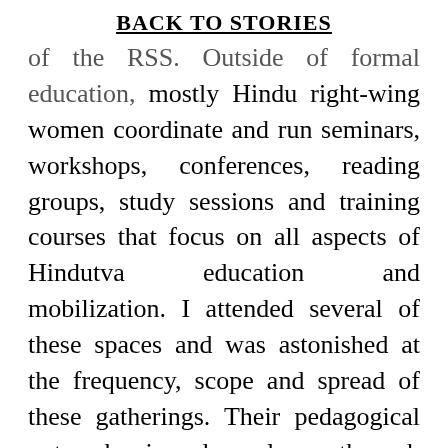BACK TO STORIES
of the RSS. Outside of formal education, mostly Hindu right-wing women coordinate and run seminars, workshops, conferences, reading groups, study sessions and training courses that focus on all aspects of Hindutva education and mobilization. I attended several of these spaces and was astonished at the frequency, scope and spread of these gatherings. Their pedagogical outreach is also done through publications (books, pamphlets, graphic novels, comics,